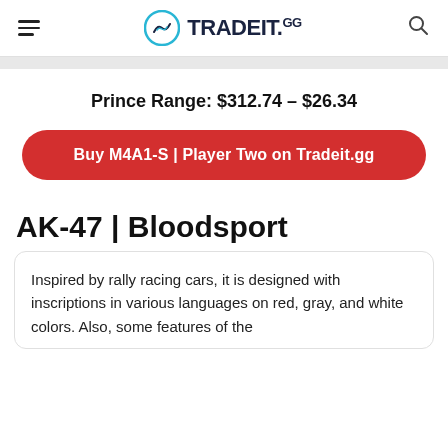TRADEIT.GG
Prince Range: $312.74 – $26.34
Buy M4A1-S | Player Two on Tradeit.gg
AK-47 | Bloodsport
Inspired by rally racing cars, it is designed with inscriptions in various languages on red, gray, and white colors. Also, some features of the